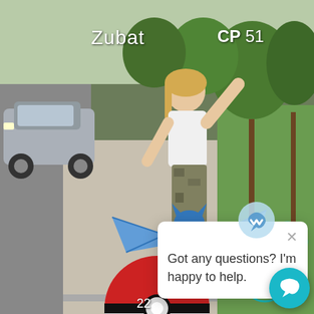[Figure (screenshot): Pokémon GO augmented reality screenshot showing a woman on a sidewalk with a Zubat AR Pokémon superimposed in front of her. A Poké Ball appears at the bottom center. A chat widget popup overlays the lower right portion of the screen displaying a bot icon and the message 'Got any questions? I'm happy to help.' with a close X button and a teal chat button in the corner. The Pokémon name 'Zubat' and 'CP 51' appear at the top. The number '22' appears at the bottom.]